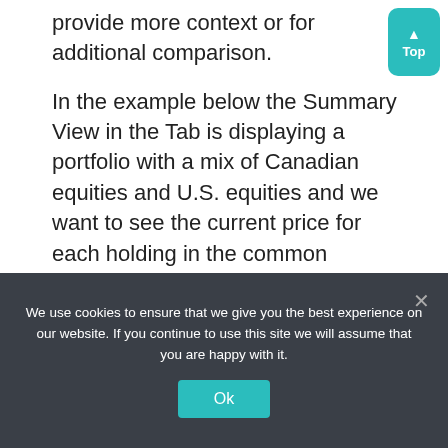provide more context or for additional comparison.
In the example below the Summary View in the Tab is displaying a portfolio with a mix of Canadian equities and U.S. equities and we want to see the current price for each holding in the common currency of U.S. Dollars.
To do this we will add the Price USD column in the Table via “Add Columns”. We’ll search based on “USD”, pick Price USD, and add it. We also added “Exchange” and “Currency” as columns.
We use cookies to ensure that we give you the best experience on our website. If you continue to use this site we will assume that you are happy with it.